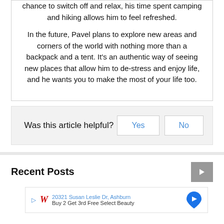chance to switch off and relax, his time spent camping and hiking allows him to feel refreshed.
In the future, Pavel plans to explore new areas and corners of the world with nothing more than a backpack and a tent. It's an authentic way of seeing new places that allow him to de-stress and enjoy life, and he wants you to make the most of your life too.
Was this article helpful?
Recent Posts
[Figure (screenshot): Advertisement banner showing Walgreens logo, address 20321 Susan Leslie Dr, Ashburn, and text Buy 2 Get 3rd Free Select Beauty with a map navigation icon]